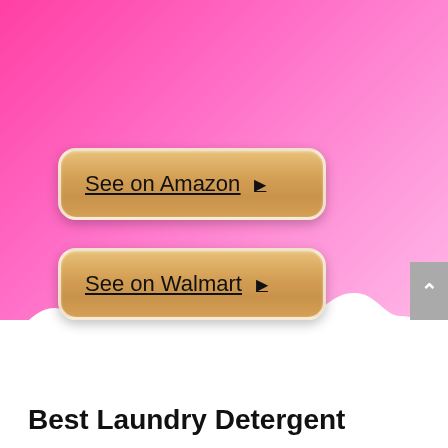[Figure (screenshot): Pink gradient background with two gold/tan rounded buttons labeled 'See on Amazon' and 'See on Walmart', a white cloud-shaped divider, a gray scroll-to-top button in the bottom right, and a bold title 'Best Laundry Detergent' at the bottom on white background.]
See on Amazon ▶
See on Walmart ▶
Best Laundry Detergent